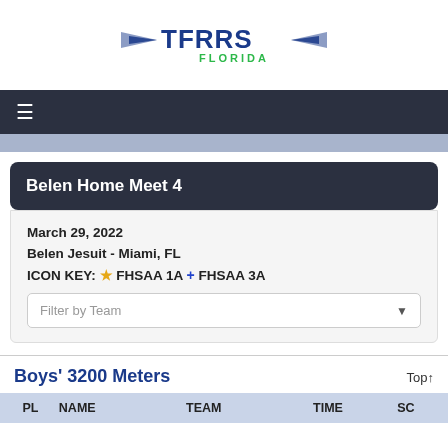[Figure (logo): TFRRS Florida logo with wing icons and blue/green text]
≡
Belen Home Meet 4
March 29, 2022
Belen Jesuit - Miami, FL
ICON KEY: ★ FHSAA 1A + FHSAA 3A
Boys' 3200 Meters
| PL | NAME | TEAM | TIME | SC |
| --- | --- | --- | --- | --- |